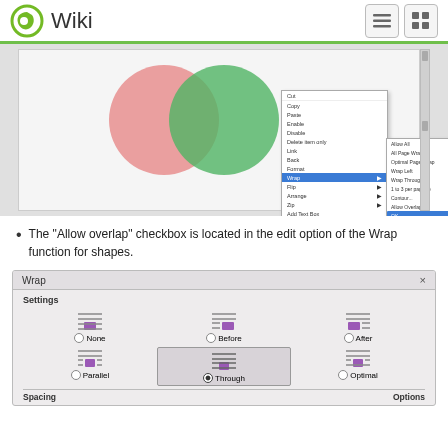Wiki
[Figure (screenshot): Screenshot of a LibreOffice document showing two overlapping circles (pink and green) with a context menu open showing Wrap options including 'Allow All', 'All Page Wrap', 'Optimal Page Wrap', 'Wrap Left', 'Wrap Through', and a wrap settings dialog.]
The "Allow overlap" checkbox is located in the edit option of the Wrap function for shapes.
[Figure (screenshot): Wrap dialog box showing Settings section with wrap options: None, Before, After (top row) and Parallel, Through (selected), Optimal (bottom row). Bottom shows Spacing and Options labels.]